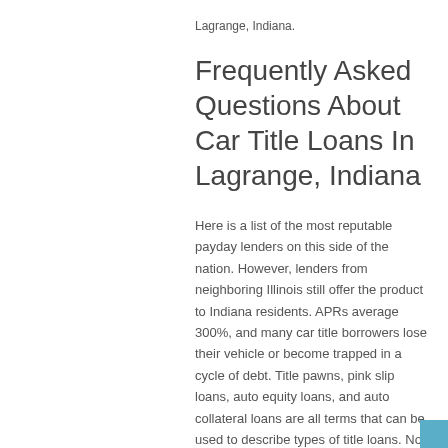Lagrange, Indiana.
Frequently Asked Questions About Car Title Loans In Lagrange, Indiana
Here is a list of the most reputable payday lenders on this side of the nation. However, lenders from neighboring Illinois still offer the product to Indiana residents. APRs average 300%, and many car title borrowers lose their vehicle or become trapped in a cycle of debt. Title pawns, pink slip loans, auto equity loans, and auto collateral loans are all terms that can be used to describe types of title loans. No one likes to have debts, and especially if they're connected with utility bills. It's not a surprise that prices are growing rapidly, but the government doesn't ask you whether you can pay in time. That's why it's better to get 24 hour Installment loans Lagrange in Indiana IN provides to residents rather than postponing utility payments.